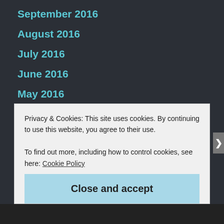September 2016
August 2016
July 2016
June 2016
May 2016
April 2016
March 2016
January 2016
September 2015
August 2015
January 2015
Privacy & Cookies: This site uses cookies. By continuing to use this website, you agree to their use.
To find out more, including how to control cookies, see here: Cookie Policy
Close and accept